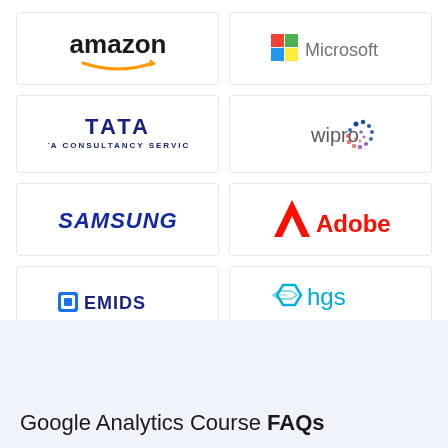[Figure (logo): Amazon logo]
[Figure (logo): Microsoft logo]
[Figure (logo): Tata Consultancy Services logo]
[Figure (logo): Wipro logo]
[Figure (logo): Samsung logo]
[Figure (logo): Adobe logo]
[Figure (logo): EMIDS logo]
[Figure (logo): HGS logo]
Google Analytics Course FAQs